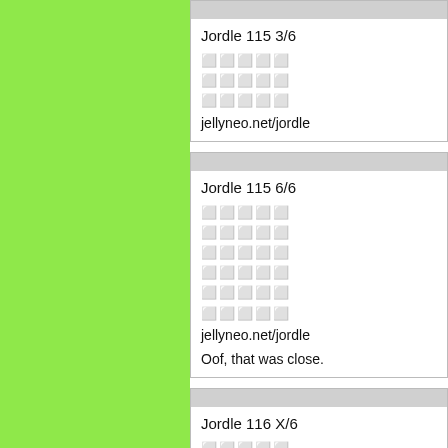[Figure (other): Green vertical panel on the left side of the page]
Jordle 115 3/6
⬜⬜⬜⬜⬜
⬜⬜⬜⬜⬜
⬜⬜⬜⬜⬜
jellyneo.net/jordle
Jordle 115 6/6
⬜⬜⬜⬜⬜
⬜⬜⬜⬜⬜
⬜⬜⬜⬜⬜
⬜⬜⬜⬜⬜
⬜⬜⬜⬜⬜
⬜⬜⬜⬜⬜
jellyneo.net/jordle

Oof, that was close.
Jordle 116 X/6
⬜⬜⬜⬜⬜